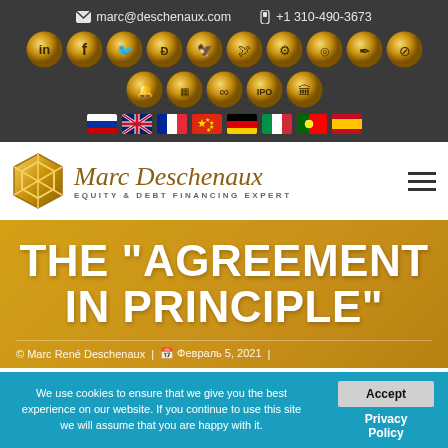marc@deschenaux.com  +1 310-490-3673
[Figure (infographic): Row of gold circular social media and platform icons (LinkedIn, Facebook, Twitter, and others), followed by a second row with additional gold circular icons]
[Figure (infographic): Row of 8 country flag icons: Russian, UK, French, Chinese, German, Italian, Portuguese, Spanish]
[Figure (logo): Marc Deschenaux logo with geometric gold hexagon icon on left, cursive 'Marc Deschenaux' text in gold/brown, subtitle 'EQUITY & DEBT FINANCING EXPERT' in uppercase gray, hamburger menu icon on right]
THE “AGREEMENT IN PRINCIPLE”
© Marc René Deschenaux | 📅 Февраль 5, 2021 |
We use cookies to ensure that we give you the best experience on our website. If you continue to use this site we will assume that you are happy with it.
Accept
Privacy Policy